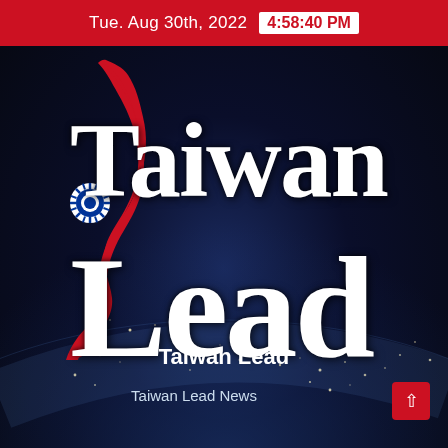Tue. Aug 30th, 2022  4:58:40 PM
[Figure (logo): Taiwan Lead logo: red silhouette of Taiwan island with blue Kuomintang sun emblem, overlaid with large white serif text reading 'Taiwan Lead', set against a dark space/Earth background with city lights]
Taiwan Lead
Taiwan Lead News